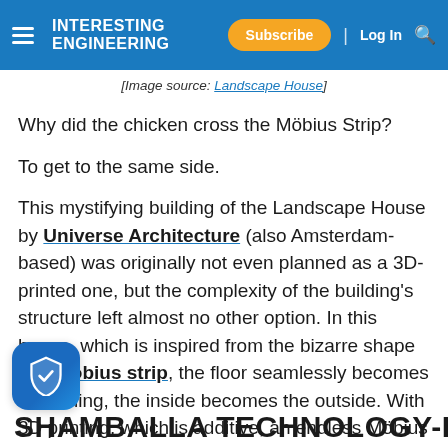Interesting Engineering | Subscribe | Log In
[Image source: Landscape House]
Why did the chicken cross the Möbius Strip?
To get to the same side.
This mystifying building of the Landscape House by Universe Architecture (also Amsterdam-based) was originally not even planned as a 3D-printed one, but the complexity of the building's structure left almost no other option. In this house, which is inspired from the bizarre shape of a Möbius strip, the floor seamlessly becomes the ceiling, the inside becomes the outside. With 3D printing, which is additive, an endless Möbius strip can be manufactured without a
SHAMBALLA Technology-inspired Vill...